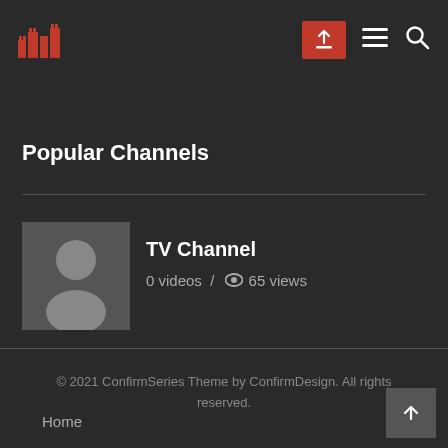TV Channel site header with logo, upload button, hamburger menu, and search icon
Popular Channels
[Figure (illustration): Channel avatar with default user silhouette in grey square]
TV Channel
0 videos / 65 views
© 2021 ConfirmSeries Theme by ConfirmDesign. All rights reserved.
Home